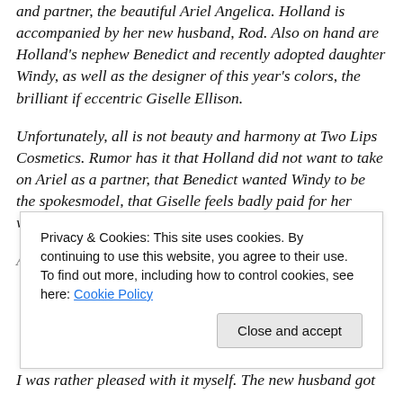and partner, the beautiful Ariel Angelica. Holland is accompanied by her new husband, Rod. Also on hand are Holland's nephew Benedict and recently adopted daughter Windy, as well as the designer of this year's colors, the brilliant if eccentric Giselle Ellison.
Unfortunately, all is not beauty and harmony at Two Lips Cosmetics. Rumor has it that Holland did not want to take on Ariel as a partner, that Benedict wanted Windy to be the spokesmodel, that Giselle feels badly paid for her work, and nobody knows quite what to think of Dutch.
Additionally, and it has always cost Ariel a great...
I was rather pleased with it myself. The new husband got
Privacy & Cookies: This site uses cookies. By continuing to use this website, you agree to their use.
To find out more, including how to control cookies, see here: Cookie Policy
Close and accept